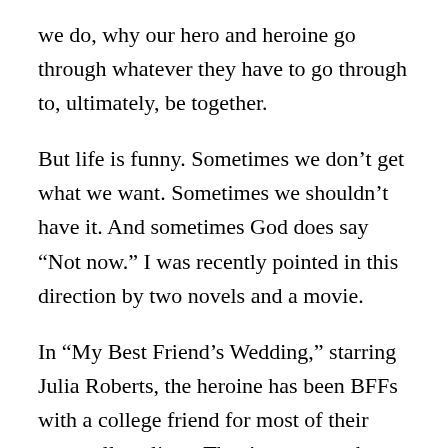we do, why our hero and heroine go through whatever they have to go through to, ultimately, be together.
But life is funny. Sometimes we don't get what we want. Sometimes we shouldn't have it. And sometimes God does say “Not now.” I was recently pointed in this direction by two novels and a movie.
In “My Best Friend’s Wedding,” starring Julia Roberts, the heroine has been BFFs  with a college friend for most of their post-college lives. They’ve seen each other through crashed relationships, job debacles and more, while never recognizing their attraction to each other. When Dermot Muloney tells Roberts’ character that he has found The One, she begins to wonder if an